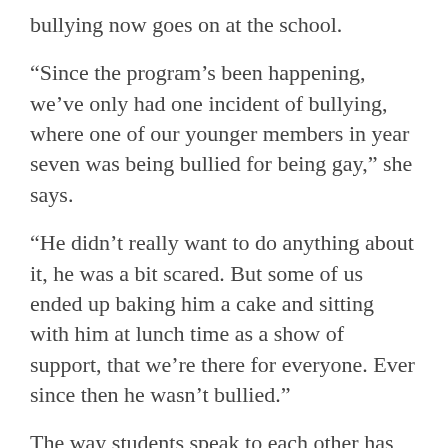bullying now goes on at the school.
“Since the program’s been happening, we’ve only had one incident of bullying, where one of our younger members in year seven was being bullied for being gay,” she says.
“He didn’t really want to do anything about it, he was a bit scared. But some of us ended up baking him a cake and sitting with him at lunch time as a show of support, that we’re there for everyone. Ever since then he wasn’t bullied.”
The way students speak to each other has changed since the program was introduced, with casual homophobia all but disappearing.
“We did have that phase a couple of years ago where everyone was saying